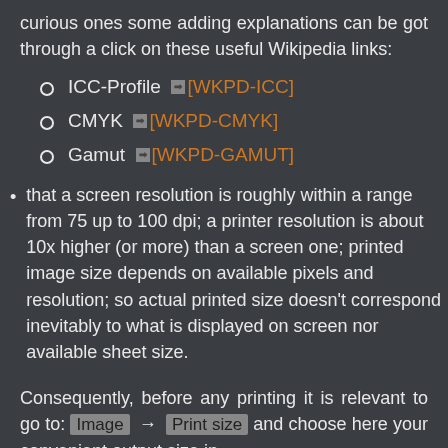curious ones some adding explanations can be got through a click on these useful Wikipedia links:
ICC-Profile  [WKPD-ICC]
CMYK  [WKPD-CMYK]
Gamut  [WKPD-GAMUT]
that a screen resolution is roughly within a range from 75 up to 100 dpi; a printer resolution is about 10x higher (or more) than a screen one; printed image size depends on available pixels and resolution; so actual printed size doesn't correspond inevitably to what is displayed on screen nor available sheet size.
Consequently, before any printing it is relevant to go to: Image → Print size and choose here your convenient output size in